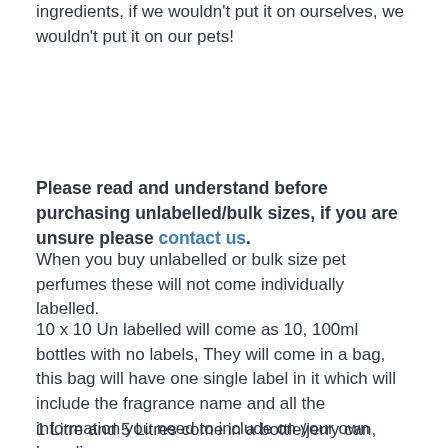ingredients, if we wouldn't put it on ourselves, we wouldn't put it on our pets!
Please read and understand before purchasing unlabelled/bulk sizes, if you are unsure please contact us.
When you buy unlabelled or bulk size pet perfumes these will not come individually labelled.
10 x 10 Un labelled will come as 10, 100ml bottles with no labels, They will come in a bag, this bag will have one single label in it which will include the fragrance name and all the information you need to include on your own branding.
1 Litre and 5 Litres come in a bottle/jerry can, these do not